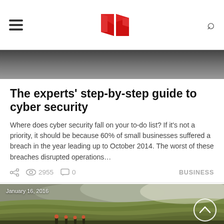Navigation header with hamburger menu, red logo, and search icon
[Figure (photo): Dark gradient hero image strip at top of article card]
The experts' step-by-step guide to cyber security
Where does cyber security fall on your to-do list? If it's not a priority, it should be because 60% of small businesses suffered a breach in the year leading up to October 2014. The worst of these breaches disrupted operations…
2955  0  BUSINESS
[Figure (photo): Terraced rice field landscape with misty mountains and people walking in foreground, dated January 16, 2016]